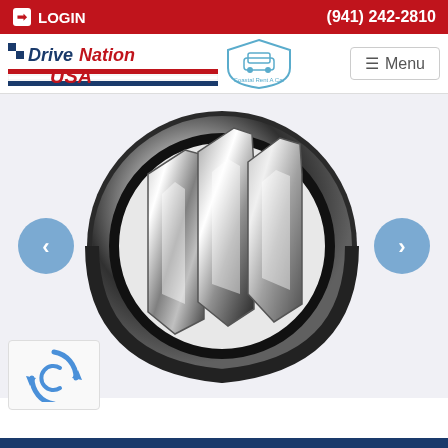LOGIN | (941) 242-2810
[Figure (logo): DriveNation USA and Coastal Rent A Car logo with navigation Menu button]
[Figure (logo): Buick tri-shield chrome logo on white/light gray background with left and right navigation arrows]
[Figure (other): reCAPTCHA widget icon (spinning arrows forming a circle)]